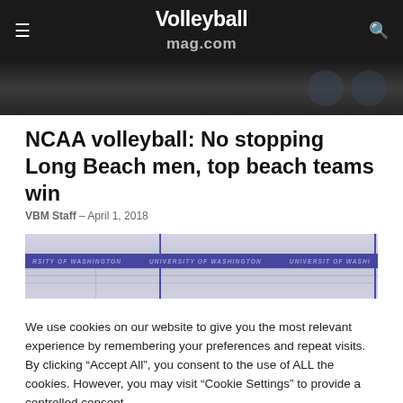Volleyballmag.com
[Figure (photo): Top navigation area with dark background showing partial volleyball match photo]
NCAA volleyball: No stopping Long Beach men, top beach teams win
VBM Staff – April 1, 2018
[Figure (photo): University of Washington volleyball court photo showing net and court markings]
We use cookies on our website to give you the most relevant experience by remembering your preferences and repeat visits. By clicking "Accept All", you consent to the use of ALL the cookies. However, you may visit "Cookie Settings" to provide a controlled consent.